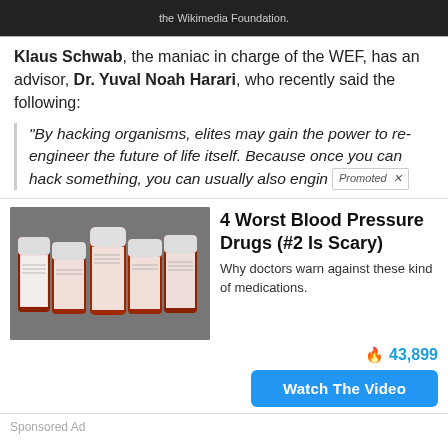[Figure (screenshot): Dark banner showing partial text 'the Wikimedia Foundation.']
Klaus Schwab, the maniac in charge of the WEF, has an advisor, Dr. Yuval Noah Harari, who recently said the following:
"By hacking organisms, elites may gain the power to re-engineer the future of life itself. Because once you can hack something, you can usually also engin [Promoted x]
[Figure (photo): Photo of five amber/orange prescription pill bottles with white caps arranged in a fan layout on a gray surface]
4 Worst Blood Pressure Drugs (#2 Is Scary)
Why doctors warn against these kind of medications.
🔥 43,899
Watch The Video
Sponsored Ad